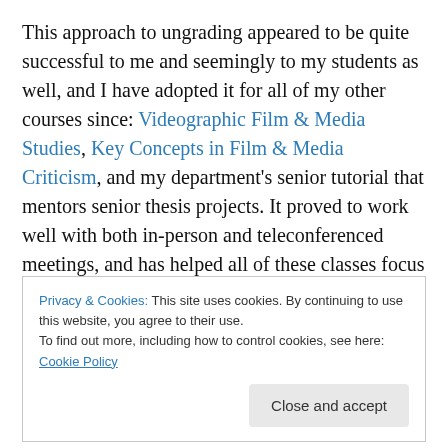This approach to ungrading appeared to be quite successful to me and seemingly to my students as well, and I have adopted it for all of my other courses since: Videographic Film & Media Studies, Key Concepts in Film & Media Criticism, and my department's senior tutorial that mentors senior thesis projects. It proved to work well with both in-person and teleconferenced meetings, and has helped all of these classes focus on learning rather than assessment. These closing conferences are really the highlight of the semester, as I come away impressed with most students' learning and their own articulation of their
Privacy & Cookies: This site uses cookies. By continuing to use this website, you agree to their use. To find out more, including how to control cookies, see here: Cookie Policy